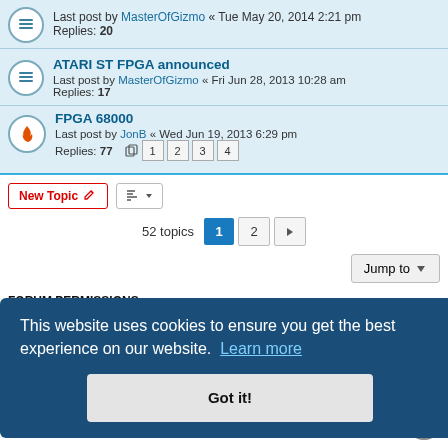Last post by MasterOfGizmo « Tue May 20, 2014 2:21 pm — Replies: 20
ATARI ST FPGA announced — Last post by MasterOfGizmo « Fri Jun 28, 2013 10:28 am — Replies: 17
FPGA 68000 — Last post by JonB « Wed Jun 19, 2013 6:29 pm — Replies: 77 — Pages: 1 2 3 4
New Topic | Sort | 52 topics — Page 1 2 »
Jump to
FORUM PERMISSIONS
This website uses cookies to ensure you get the best experience on our website. Learn more
Got it!
es are UTC